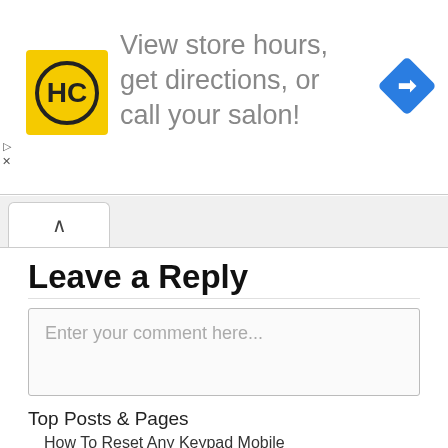[Figure (infographic): Advertisement banner for Hairstyle Connect (HC) salon locator. Yellow HC logo on left, text 'View store hours, get directions, or call your salon!' in center, blue navigation diamond icon on right. Small play and X controls on far left.]
Leave a Reply
Enter your comment here...
Top Posts & Pages
How To Reset Any Keypad Mobile